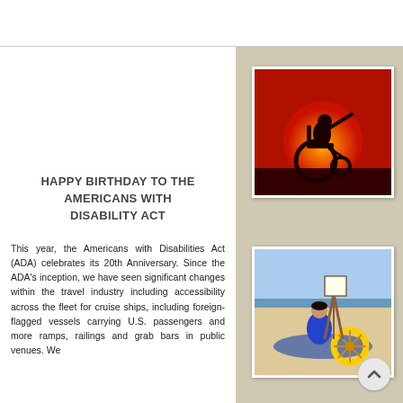[Figure (photo): Silhouette of a person in a wheelchair against a bright red/orange sunset background, person's arm outstretched]
HAPPY BIRTHDAY TO THE AMERICANS WITH DISABILITY ACT
This year, the Americans with Disabilities Act (ADA) celebrates its 20th Anniversary. Since the ADA's inception, we have seen significant changes within the travel industry including accessibility across the fleet for cruise ships, including foreign-flagged vessels carrying U.S. passengers and more ramps, railings and grab bars in public venues. We
[Figure (photo): Person in a blue swimsuit using a beach wheelchair with a yellow wheel, sitting on a beach mat near an easel by the ocean]